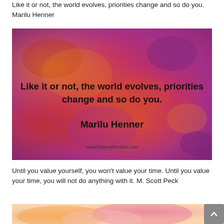Like it or not, the world evolves, priorities change and so do you. Marilu Henner
[Figure (illustration): Colorful abstract watercolor/textured background in red, orange, and purple tones with bold black text reading: 'Like it or not, the world evolves, priorities change and so do you.' and 'Marilu Henner' and small text 'www.thegrowthreactor.com']
Until you value yourself, you won't value your time. Until you value your time, you will not do anything with it. M. Scott Peck
[Figure (illustration): Partial watercolor image in orange and pink tones, cropped at bottom of page]